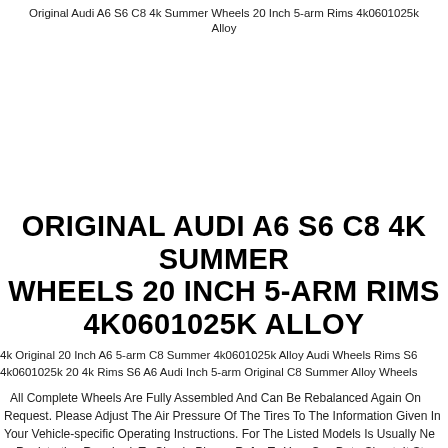Original Audi A6 S6 C8 4k Summer Wheels 20 Inch 5-arm Rims 4k0601025k Alloy
[Figure (photo): Product image placeholder for Audi alloy wheels]
ORIGINAL AUDI A6 S6 C8 4K SUMMER WHEELS 20 INCH 5-ARM RIMS 4K0601025K ALLOY
4k Original 20 Inch A6 5-arm C8 Summer 4k0601025k Alloy Audi Wheels Rims S6 4k0601025k 20 4k Rims S6 A6 Audi Inch 5-arm Original C8 Summer Alloy Wheels
All Complete Wheels Are Fully Assembled And Can Be Rebalanced Again On Request. Please Adjust The Air Pressure Of The Tires To The Information Given In Your Vehicle-specific Operating Instructions. For The Listed Models Is Usually No New Registration Required. To Check, Please Refer To Your Coc Data Sheet. It Sta